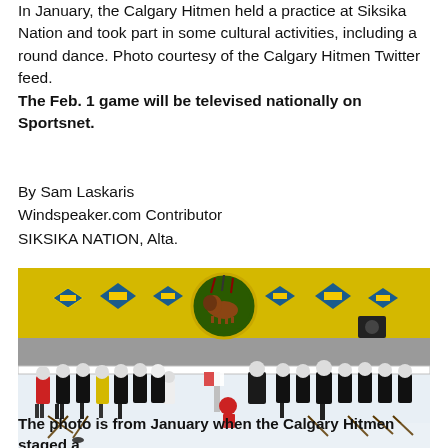In January, the Calgary Hitmen held a practice at Siksika Nation and took part in some cultural activities, including a round dance. Photo courtesy of the Calgary Hitmen Twitter feed.
The Feb. 1 game will be televised nationally on Sportsnet.
By Sam Laskaris
Windspeaker.com Contributor
SIKSIKA NATION, Alta.
[Figure (photo): Hockey players in black jerseys gathered in a circle on an indoor ice rink. A large bison logo is visible on the yellow and grey arena wall in the background, along with Indigenous geometric diamond patterns. A person in the centre appears to hold a flag or staff.]
The photo is from January when the Calgary Hitmen staged a